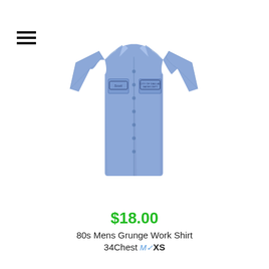[Figure (photo): Light blue short-sleeve men's work shirt displayed on a mannequin, with two chest pockets and embroidered patches on both pockets. 80s grunge style.]
$18.00
80s Mens Grunge Work Shirt
34Chest M✓ XS